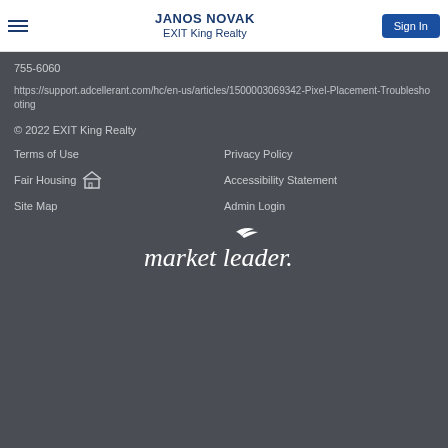JANOS NOVAK EXIT King Realty | Sign In
755-6060
https://support.adcellerant.com/hc/en-us/articles/1500003069342-Pixel-Placement-Troubleshooting
© 2022 EXIT King Realty
Terms of Use
Privacy Policy
Fair Housing
Accessibility Statement
Site Map
Admin Login
[Figure (logo): market leader. logo in white italic text with a small bird/swoosh above the word 'leader']